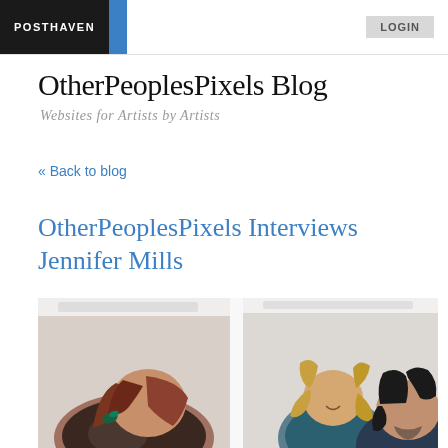POSTHAVEN | LOGIN
OtherPeoplesPixels Blog
Websites for Artists by Artists
« Back to blog
OtherPeoplesPixels Interviews Jennifer Mills
[Figure (photo): Two side-by-side photos of people leaning over and looking at something. Left photo shows a woman with red hair leaning forward. Right photo shows a blonde woman smiling and a dark-haired man looking at something together.]